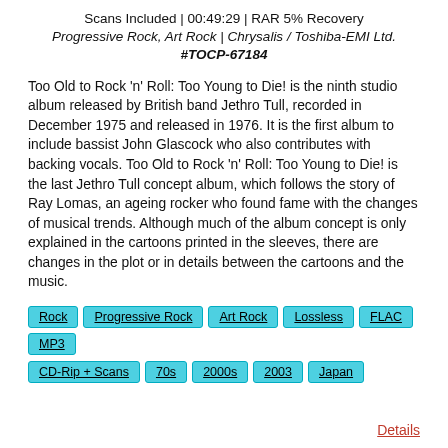Scans Included | 00:49:29 | RAR 5% Recovery
Progressive Rock, Art Rock | Chrysalis / Toshiba-EMI Ltd.
#TOCP-67184
Too Old to Rock 'n' Roll: Too Young to Die! is the ninth studio album released by British band Jethro Tull, recorded in December 1975 and released in 1976. It is the first album to include bassist John Glascock who also contributes with backing vocals. Too Old to Rock 'n' Roll: Too Young to Die! is the last Jethro Tull concept album, which follows the story of Ray Lomas, an ageing rocker who found fame with the changes of musical trends. Although much of the album concept is only explained in the cartoons printed in the sleeves, there are changes in the plot or in details between the cartoons and the music.
Rock | Progressive Rock | Art Rock | Lossless | FLAC | MP3 | CD-Rip + Scans | 70s | 2000s | 2003 | Japan
Details